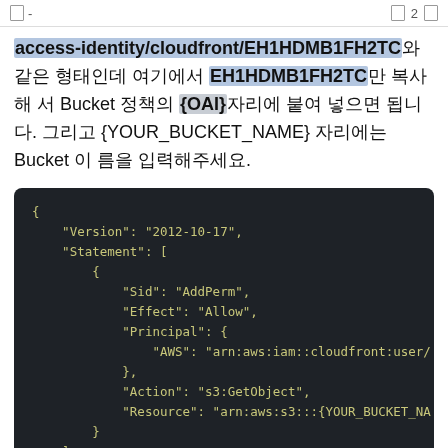[ ] -    [ ] 2  [ ]
access-identity/cloudfront/EH1HDMB1FH2TC와 같은 형태인데 여기에서 EH1HDMB1FH2TC만 복사해서 Bucket 정책의 {OAI}자리에 붙여 넣으면 됩니다. 그리고 {YOUR_BUCKET_NAME} 자리에는 Bucket 이름을 입력해주세요.
[Figure (screenshot): JSON code block showing AWS S3 bucket policy with Version 2012-10-17, Statement with Sid AddPerm, Effect Allow, Principal AWS arn:aws:iam::cloudfront:user/, Action s3:GetObject, Resource arn:aws:s3:::{YOUR_BUCKET_NA]